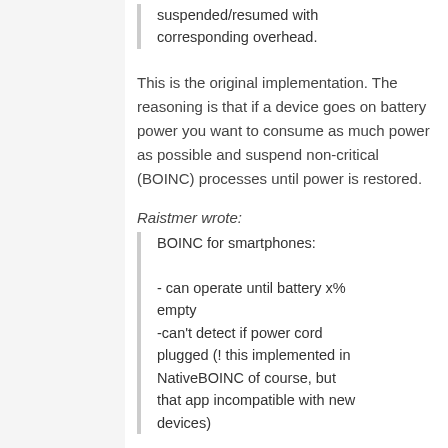suspended/resumed with corresponding overhead.
This is the original implementation. The reasoning is that if a device goes on battery power you want to consume as much power as possible and suspend non-critical (BOINC) processes until power is restored.
Raistmer wrote:
BOINC for smartphones:

- can operate until battery x% empty
-can't detect if power cord plugged (! this implemented in NativeBOINC of course, but that app incompatible with new devices)